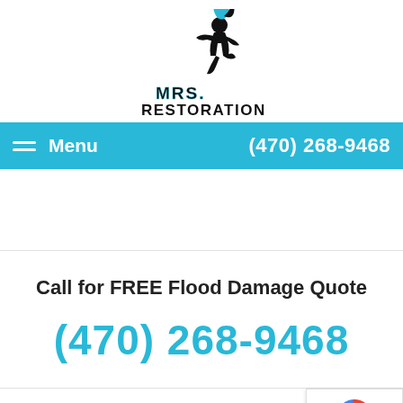[Figure (logo): MRS. Restoration logo: silhouette of a figure running with water/fire swirl above, company name 'MRS. RESTORATION' in bold black text below]
Menu   (470) 268-9468
Call for FREE Flood Damage Quote
(470) 268-9468
[Figure (other): reCAPTCHA badge with Google reCAPTCHA icon and 'Privacy · Terms' text]